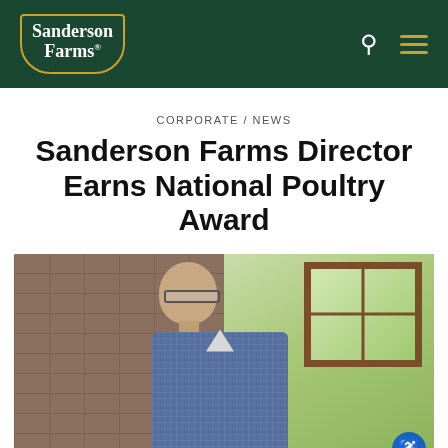Sanderson Farms
CORPORATE / NEWS
Sanderson Farms Director Earns National Poultry Award
[Figure (photo): Professional photo of a middle-aged man wearing glasses and a blue patterned button-up shirt, standing in front of a stone wall with a wooden-framed window showing green foliage in the background.]